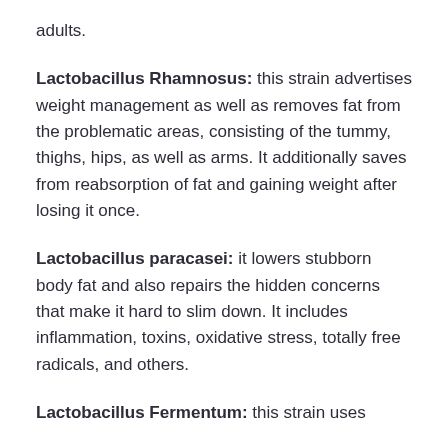adults.
Lactobacillus Rhamnosus: this strain advertises weight management as well as removes fat from the problematic areas, consisting of the tummy, thighs, hips, as well as arms. It additionally saves from reabsorption of fat and gaining weight after losing it once.
Lactobacillus paracasei: it lowers stubborn body fat and also repairs the hidden concerns that make it hard to slim down. It includes inflammation, toxins, oxidative stress, totally free radicals, and others.
Lactobacillus Fermentum: this strain uses